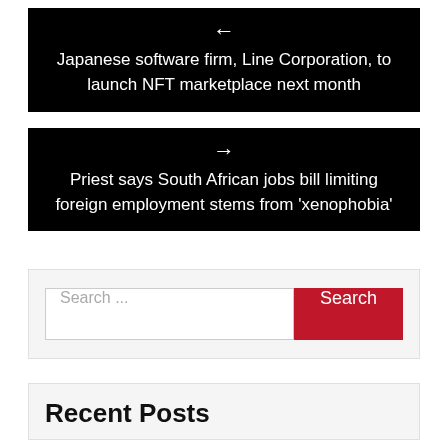← Japanese software firm, Line Corporation, to launch NFT marketplace next month
→ Priest says South African jobs bill limiting foreign employment stems from 'xenophobia'
Search ...
Recent Posts